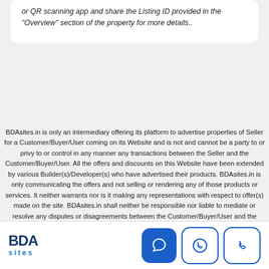or QR scanning app and share the Listing ID provided in the "Overview" section of the property for more details..
BDAsites.in is only an intermediary offering its platform to advertise properties of Seller for a Customer/Buyer/User coming on its Website and is not and cannot be a party to or privy to or control in any manner any transactions between the Seller and the Customer/Buyer/User. All the offers and discounts on this Website have been extended by various Builder(s)/Developer(s) who have advertised their products. BDAsites.in is only communicating the offers and not selling or rendering any of those products or services. It neither warrants nor is it making any representations with respect to offer(s) made on the site. BDAsites.in shall neither be responsible nor liable to mediate or resolve any disputes or disagreements between the Customer/Buyer/User and the Seller and both Seller and Customer/Buyer/User...
[Figure (logo): BDA sites logo in blue]